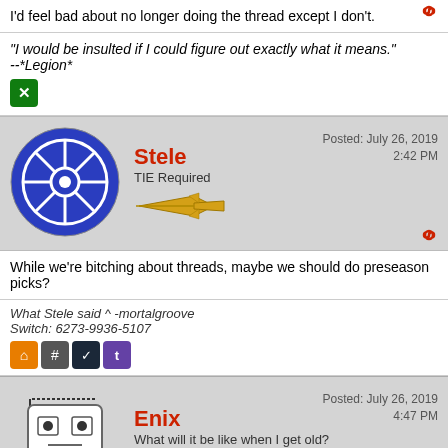I'd feel bad about no longer doing the thread except I don't.
"I would be insulted if I could figure out exactly what it means."
--*Legion*
[Figure (logo): Xbox logo icon (green square with X)]
Stele — TIE Required — Posted: July 26, 2019 2:42 PM
[Figure (illustration): Star Wars Imperial logo avatar (blue circular emblem)]
[Figure (illustration): Yellow airplane/fighter jet icon]
While we're bitching about threads, maybe we should do preseason picks?
What Stele said ^ -mortalgroove
Switch: 6273-9936-5107
[Figure (logo): Social media icons row: home (orange), hash (grey), steam (dark), twitch (purple)]
Enix — What will it be like when I get old? — Posted: July 26, 2019 4:47 PM
[Figure (illustration): Robot/cartoon character avatar with glasses and tie]
[Figure (illustration): Gold key icon]
detroit20 wrote: